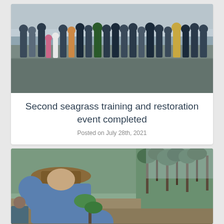[Figure (photo): Group of approximately 20 people including adults and children standing on a mudflat or tidal flat area near water, on a cloudy day. People are wearing casual outdoor clothes including rain jackets. This is a seagrass restoration event.]
Second seagrass training and restoration event completed
Posted on July 28th, 2021
[Figure (photo): A person wearing a wide-brimmed hat and blue long-sleeve shirt bending down and planting a mangrove seedling into the ground using a stick or tool, with vegetation in the background.]